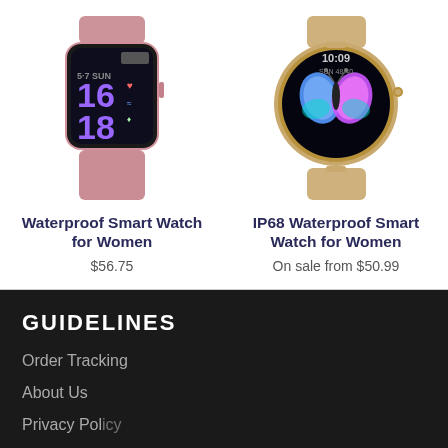[Figure (photo): Pink rose gold square smartwatch with mesh band showing purple digital time display 16 18]
Waterproof Smart Watch for Women
$56.75
[Figure (photo): Gold round smartwatch with mesh band showing butterfly on black screen and time 10:09]
IP68 Waterproof Smart Watch for Women
On sale from $50.99
GUIDELINES
Order Tracking
About Us
Privacy Policy